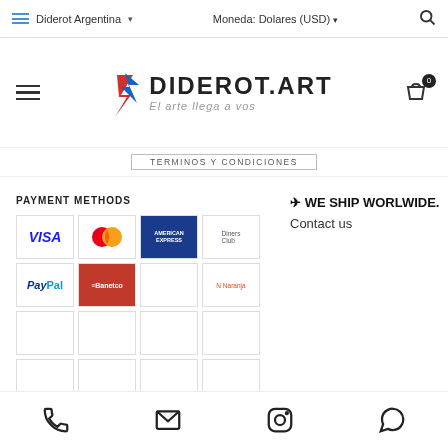Diderot Argentina | Moneda: Dolares (USD)
[Figure (logo): Diderot.art logo with tagline 'El arte llega a vos']
TERMINOS Y CONDICIONES
PAYMENT METHODS
[Figure (infographic): Payment method logos grid: Visa, Mastercard, American Express, Diners Club, PayPal, Banetco, Naranja, PayPal (text), and several empty cells]
✈ WE SHIP WORLWIDE. Contact us
Contact icons: phone, email, Instagram, WhatsApp